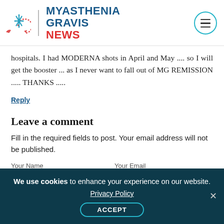[Figure (logo): Myasthenia Gravis News website header with snowflake logo, site title in blue and red, and hamburger menu button in a cyan circle]
hospitals. I had MODERNA shots in April and May .... so I will get the booster ... as I never want to fall out of MG REMISSION ..... THANKS .....
Reply
Leave a comment
Fill in the required fields to post. Your email address will not be published.
Your Name    Your Email
We use cookies to enhance your experience on our website. Privacy Policy ACCEPT